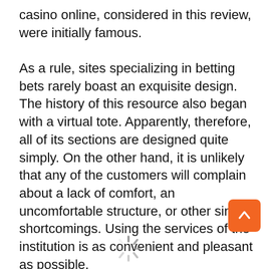casino online, considered in this review, were initially famous.
As a rule, sites specializing in betting bets rarely boast an exquisite design. The history of this resource also began with a virtual tote. Apparently, therefore, all of its sections are designed quite simply. On the other hand, it is unlikely that any of the customers will complain about a lack of comfort, an uncomfortable structure, or other similar shortcomings. Using the services of the institution is as convenient and pleasant as possible.
[Figure (other): Loading spinner icon at bottom center of page]
[Figure (other): Orange rounded square button with white upward arrow, bottom right corner]